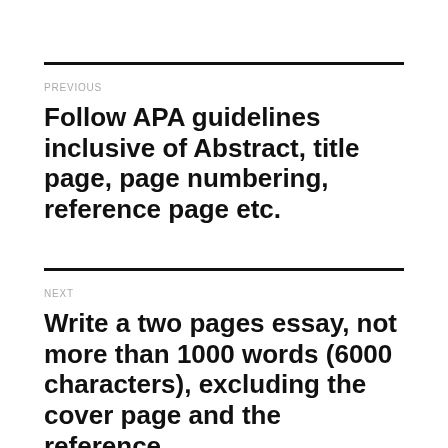PREVIOUS
Follow APA guidelines inclusive of Abstract, title page, page numbering, reference page etc.
NEXT
Write a two pages essay, not more than 1000 words (6000 characters), excluding the cover page and the reference